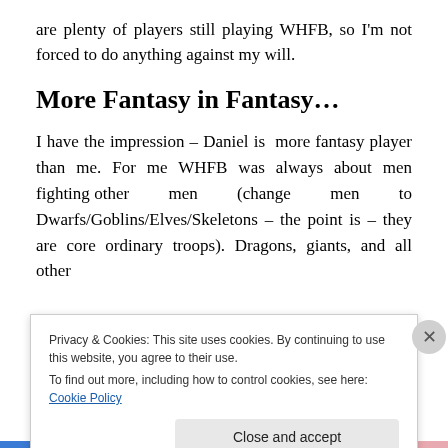are plenty of players still playing WHFB, so I'm not forced to do anything against my will.
More Fantasy in Fantasy…
I have the impression – Daniel is  more fantasy player than me. For me WHFB was always about men fighting other men (change men to Dwarfs/Goblins/Elves/Skeletons – the point is – they are core ordinary troops). Dragons, giants, and all other
Privacy & Cookies: This site uses cookies. By continuing to use this website, you agree to their use.
To find out more, including how to control cookies, see here: Cookie Policy
Close and accept